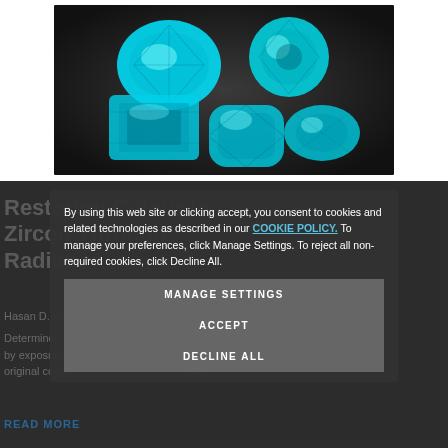[Figure (photo): Five blue-teal cut gemstones (zircons) of various shapes including oval, round, emerald cut, cushion and pear on a dark gray background]
Restoring Colour to Zircon Through Radiation
Hasan D. Renny...
Determines whether blue zircon that only offered to brown by exposure to... restored to its original colour... light.
READ MORE
By using this web site or clicking accept, you consent to cookies and related technologies as described in our COOKIE POLICY. To manage your preferences, click Manage Settings. To reject all non-required cookies, click Decline All.
MANAGE SETTINGS
ACCEPT
DECLINE ALL